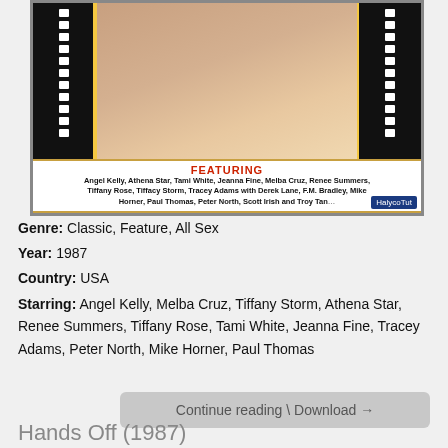[Figure (photo): Movie cover art with filmstrip borders, featuring a central photo, side filmstrips with white perforations, a featuring section with red title FEATURING and cast names in bold, and a HalycoTut logo badge in bottom right.]
Genre: Classic, Feature, All Sex
Year: 1987
Country: USA
Starring: Angel Kelly, Melba Cruz, Tiffany Storm, Athena Star, Renee Summers, Tiffany Rose, Tami White, Jeanna Fine, Tracey Adams, Peter North, Mike Horner, Paul Thomas
Continue reading \ Download →
Hands Off (1987)